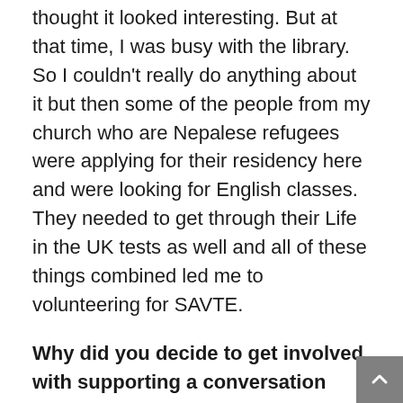thought it looked interesting. But at that time, I was busy with the library. So I couldn't really do anything about it but then some of the people from my church who are Nepalese refugees were applying for their residency here and were looking for English classes. They needed to get through their Life in the UK tests as well and all of these things combined led me to volunteering for SAVTE.
Why did you decide to get involved with supporting a conversation group?
I was already helping people as a one to one in the library and then I thought, do I have the confidence to go further with this? Well, I was storytelling to these primary school children which was something very small and then started helping the adults and